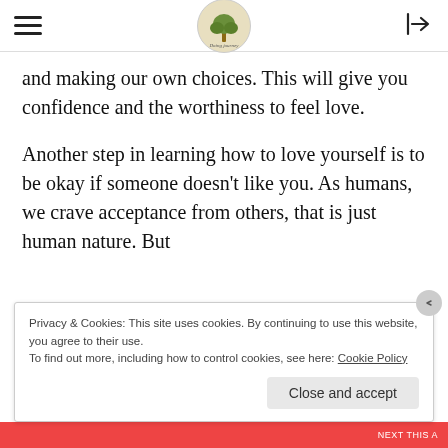and making our own choices. This will give you confidence and the worthiness to feel love.
Another step in learning how to love yourself is to be okay if someone doesn’t like you. As humans, we crave acceptance from others, that is just human nature. But
Privacy & Cookies: This site uses cookies. By continuing to use this website, you agree to their use. To find out more, including how to control cookies, see here: Cookie Policy
Close and accept